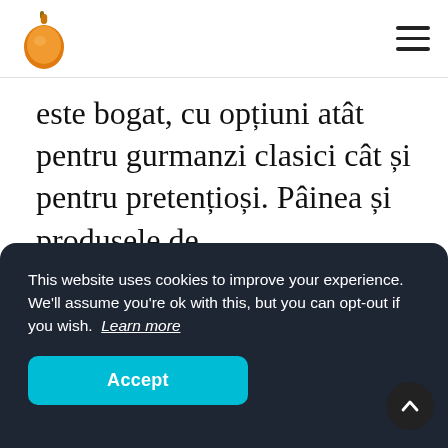[Logo: pomegranate] [Hamburger menu icon]
este bogat, cu opțiuni atât pentru gurmanzi clasici cât și pentru pretențioși. Pâinea și produsele de patiserie/cofetărie sunt făcute de ei și sunt cât se
This website uses cookies to improve your experience. We'll assume you're ok with this, but you can opt-out if you wish. Learn more
Accept